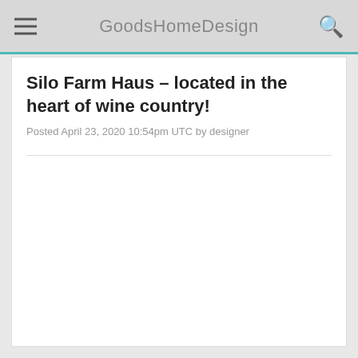GoodsHomeDesign
Silo Farm Haus – located in the heart of wine country!
Posted April 23, 2020 10:54pm UTC by designer